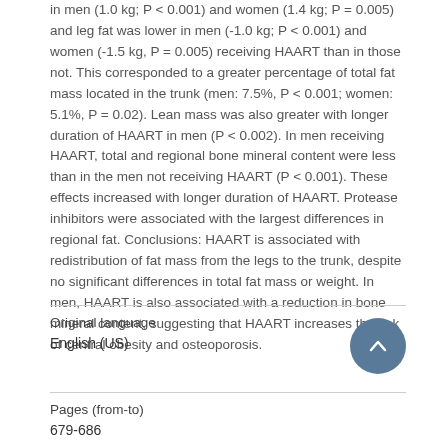in men (1.0 kg; P < 0.001) and women (1.4 kg; P = 0.005) and leg fat was lower in men (-1.0 kg; P < 0.001) and women (-1.5 kg, P = 0.005) receiving HAART than in those not. This corresponded to a greater percentage of total fat mass located in the trunk (men: 7.5%, P < 0.001; women: 5.1%, P = 0.02). Lean mass was also greater with longer duration of HAART in men (P < 0.002). In men receiving HAART, total and regional bone mineral content were less than in the men not receiving HAART (P < 0.001). These effects increased with longer duration of HAART. Protease inhibitors were associated with the largest differences in regional fat. Conclusions: HAART is associated with redistribution of fat mass from the legs to the trunk, despite no significant differences in total fat mass or weight. In men, HAART is also associated with a reduction in bone mineral content, suggesting that HAART increases the risk of central obesity and osteoporosis.
| Original language | Pages (from-to) |
| --- | --- |
| English (US) | 679-686 |